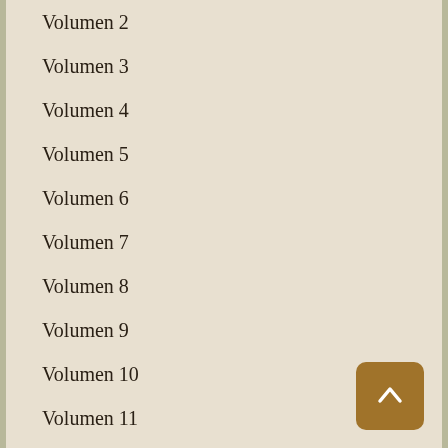Volumen 2
Volumen 3
Volumen 4
Volumen 5
Volumen 6
Volumen 7
Volumen 8
Volumen 9
Volumen 10
Volumen 11
Volumen 12
Volumen 13
Volumen 14
Volumen 15
Volumen 16